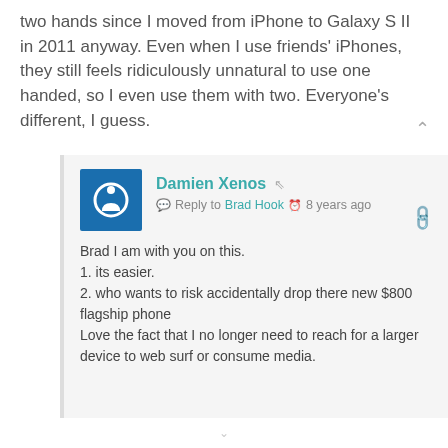two hands since I moved from iPhone to Galaxy S II in 2011 anyway. Even when I use friends' iPhones, they still feels ridiculously unnatural to use one handed, so I even use them with two. Everyone's different, I guess.
Damien Xenos — Reply to Brad Hook — 8 years ago
Brad I am with you on this.
1. its easier.
2. who wants to risk accidentally drop there new $800 flagship phone
Love the fact that I no longer need to reach for a larger device to web surf or consume media.